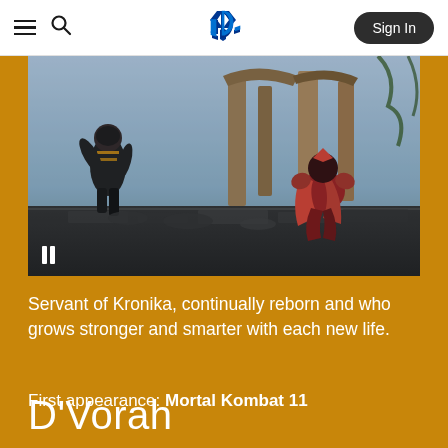≡ 🔍 PlayStation Sign In
[Figure (screenshot): Mortal Kombat 11 gameplay screenshot showing two fighters in a dark, ruined arena with stone columns and debris. One character in black armor stands on the left, the other in red crouches on the right. A pause button is visible at bottom left.]
Servant of Kronika, continually reborn and who grows stronger and smarter with each new life.
First appearance: Mortal Kombat 11
D'Vorah